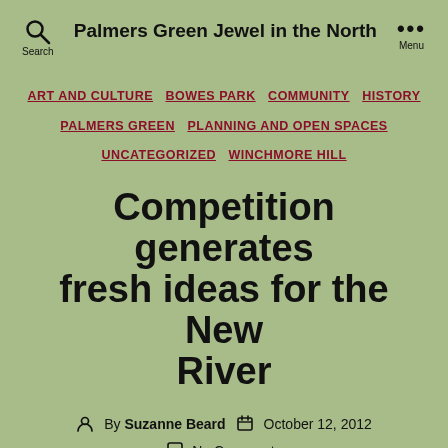Palmers Green Jewel in the North
ART AND CULTURE  BOWES PARK  COMMUNITY  HISTORY  PALMERS GREEN  PLANNING AND OPEN SPACES  UNCATEGORIZED  WINCHMORE HILL
Competition generates fresh ideas for the New River
By Suzanne Beard  October 12, 2012  No Comments